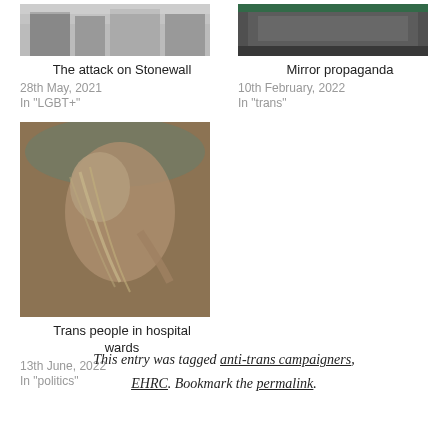[Figure (photo): Thumbnail image of Stonewall attack, buildings in grey tones]
The attack on Stonewall
28th May, 2021
In "LGBT+"
[Figure (photo): Thumbnail image for Mirror propaganda, dark tones]
Mirror propaganda
10th February, 2022
In "trans"
[Figure (photo): Painting of a person bent over with head down, brownish tones]
Trans people in hospital wards
13th June, 2022
In "politics"
This entry was tagged anti-trans campaigners, EHRC. Bookmark the permalink.